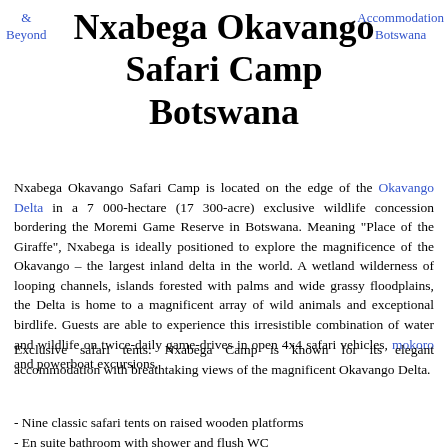& Beyond
Nxabega Okavango Safari Camp Botswana
Accommodation Botswana
Nxabega Okavango Safari Camp is located on the edge of the Okavango Delta in a 7 000-hectare (17 300-acre) exclusive wildlife concession bordering the Moremi Game Reserve in Botswana. Meaning "Place of the Giraffe", Nxabega is ideally positioned to explore the magnificence of the Okavango – the largest inland delta in the world. A wetland wilderness of looping channels, islands forested with palms and wide grassy floodplains, the Delta is home to a magnificent array of wild animals and exceptional birdlife. Guests are able to experience this irresistible combination of water and wildlife on twice-daily game-drives in open 4x4 safari vehicles, mokoro and powerboat excursions.
Exclusive safari tents: Nxabega Camp is known for its elegant accommodation with breathtaking views of the magnificent Okavango Delta.
- Nine classic safari tents on raised wooden platforms
- En suite bathroom with shower and flush WC